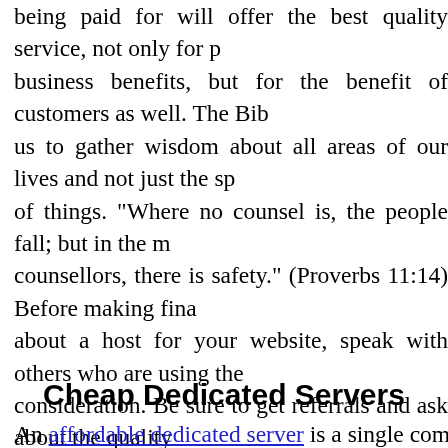being paid for will offer the best quality service, not only for business benefits, but for the benefit of customers as well. The Bible tells us to gather wisdom about all areas of our lives and not just the spiritual of things. "Where no counsel is, the people fall; but in the multitude of counsellors, there is safety." (Proverbs 11:14) Before making final decisions about a host for your website, speak with others who are using the host under consideration. Be sure to get referrals and ask about the quality of their service. The time and research invested will be time well spent!
Cheap Dedicated Servers
An affordable dedicated server is a single computer in a network re...